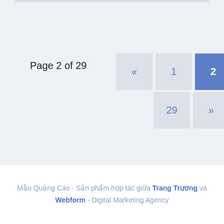Page 2 of 29
[Figure (screenshot): Pagination widget showing page 2 of 29, with buttons for «, 1, 2 (active/highlighted in blue), 3, 4, ..., 29, »]
Mẫu Quảng Cáo - Sản phẩm hợp tác giữa Trang Trương và Webform - Digital Marketing Agency